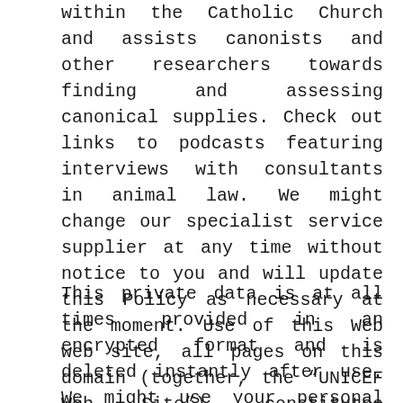within the Catholic Church and assists canonists and other researchers towards finding and assessing canonical supplies. Check out links to podcasts featuring interviews with consultants in animal law. We might change our specialist service supplier at any time without notice to you and will update this Policy as necessary at the moment. Use of this Web web site, all pages on this domain (together, the “UNICEF Web Site”), constitutes acceptance of the next terms and situations.
This private data is at all times provided in an encrypted format and is deleted instantly after use. We might use your personal data to implement our Terms of Use, to defend our legal rights, and to adjust to our legal obligations and insurance policies. It applies to all “our sites” – that is, all sites within the “unicef.org” area name